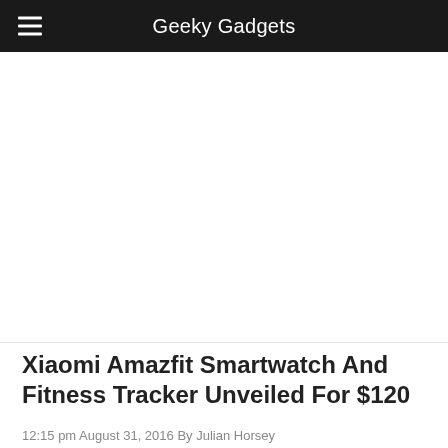Geeky Gadgets
[Figure (photo): Large image area placeholder for Xiaomi Amazfit smartwatch product photo]
Xiaomi Amazfit Smartwatch And Fitness Tracker Unveiled For $120
12:15 pm August 31, 2016 By Julian Horsey